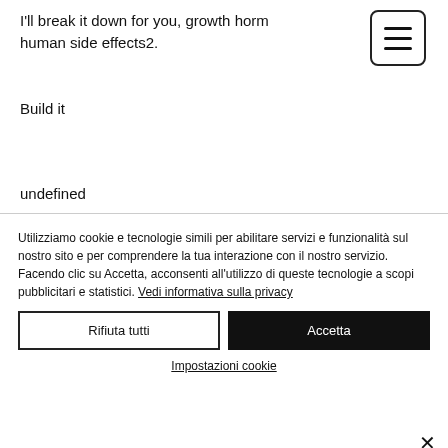I'll break it down for you, growth horm human side effects2.
Build it
undefined
Utilizziamo cookie e tecnologie simili per abilitare servizi e funzionalità sul nostro sito e per comprendere la tua interazione con il nostro servizio. Facendo clic su Accetta, acconsenti all'utilizzo di queste tecnologie a scopi pubblicitari e statistici. Vedi informativa sulla privacy
Rifiuta tutti
Accetta
Impostazioni cookie